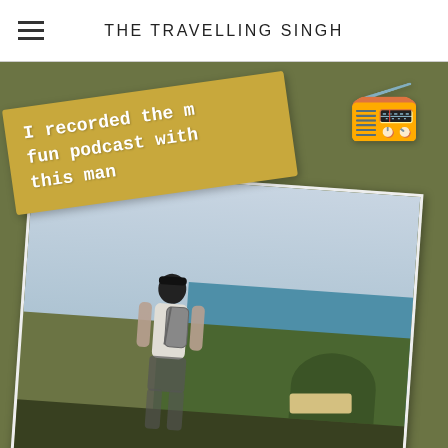THE TRAVELLING SINGH
[Figure (photo): Blog post image with olive/green background. A rotated photograph of a man with a backpack standing on a hilltop overlooking a tropical island cove with turquoise water and lush greenery. Overlaid with a rotated yellow/golden text banner reading 'I recorded the m... fun podcast with this man' in typewriter font, and a radio emoji icon in the top right of the image area.]